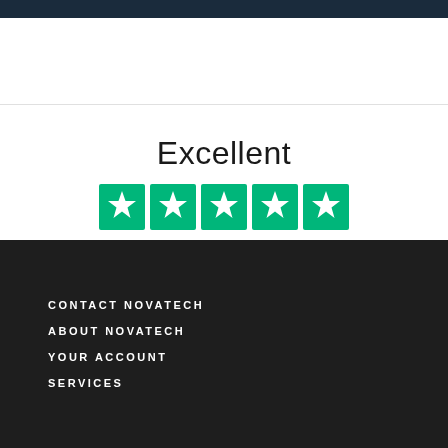[Figure (screenshot): Dark top navigation bar]
Excellent
[Figure (infographic): Five green Trustpilot star rating boxes]
Based on 20,471 reviews
[Figure (logo): Trustpilot logo with green star]
CONTACT NOVATECH
ABOUT NOVATECH
YOUR ACCOUNT
SERVICES